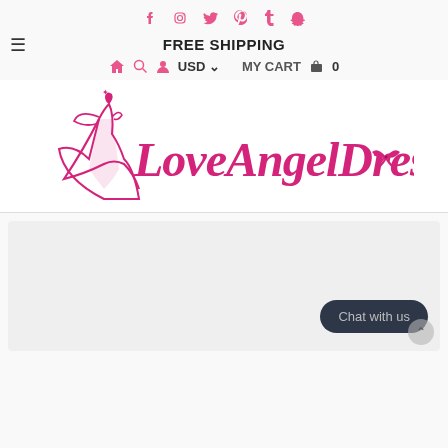Social media icons: Facebook, Instagram, Twitter, Pinterest, Tumblr, Snapchat
FREE SHIPPING
≡  🏠 🔍 👤 USD ∨   MY CART 🛒 0
[Figure (logo): LoveAngelDress logo with pink script text and angel silhouette figure in a flowing gown]
Chat with us